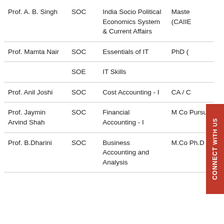| Name | School | Subject | Qualification |
| --- | --- | --- | --- |
| Prof. A. B. Singh | SOC | India Socio Political Economics System & Current Affairs | Maste (CAIIE |
| Prof. Mamta Nair | SOC | Essentials of IT | PhD ( |
|  | SOE | IT Skills |  |
| Prof. Anil Joshi | SOC | Cost Accounting - I | CA / C |
| Prof. Jaymin Arvind Shah | SOC | Financial Accounting - I | M Co Pursu |
| Prof. B.Dharini | SOC | Business Accounting and Analysis | M.Co Ph.D |